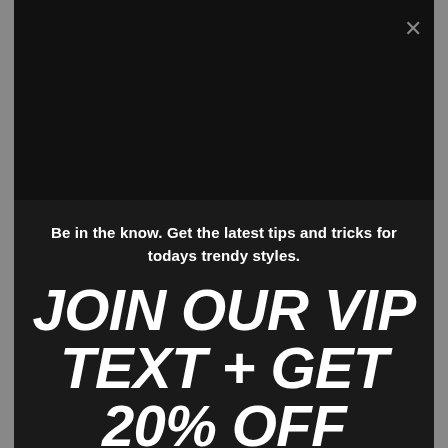[Figure (screenshot): Dark modal popup with black background at top (image area), tagline text, large bold italic promotional headline, email input field with crown icon button, and a brown continue button.]
Be in the know. Get the latest tips and tricks for todays trendy styles.
JOIN OUR VIP TEXT + GET 20% OFF
Please enter your email address
continue